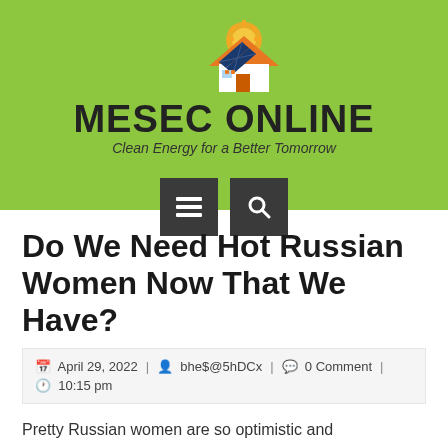[Figure (logo): MESEC ONLINE logo with solar panel house icon and gear, on green background. Tagline: Clean Energy for a Better Tomorrow. Navigation icons for menu and search.]
Do We Need Hot Russian Women Now That We Have?
April 29, 2022 | bhe$@5hDCx | 0 Comment | 10:15 pm
Pretty Russian women are so optimistic and